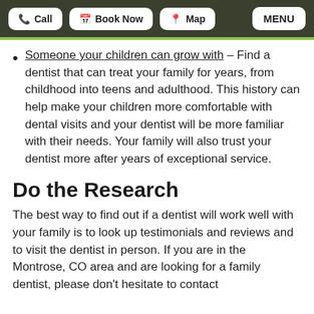Call | Book Now | Map | MENU
Someone your children can grow with – Find a dentist that can treat your family for years, from childhood into teens and adulthood. This history can help make your children more comfortable with dental visits and your dentist will be more familiar with their needs. Your family will also trust your dentist more after years of exceptional service.
Do the Research
The best way to find out if a dentist will work well with your family is to look up testimonials and reviews and to visit the dentist in person. If you are in the Montrose, CO area and are looking for a family dentist, please don't hesitate to contact